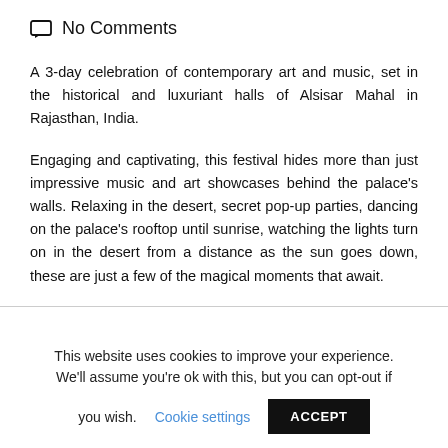No Comments
A 3-day celebration of contemporary art and music, set in the historical and luxuriant halls of Alsisar Mahal in Rajasthan, India.
Engaging and captivating, this festival hides more than just impressive music and art showcases behind the palace's walls. Relaxing in the desert, secret pop-up parties, dancing on the palace's rooftop until sunrise, watching the lights turn on in the desert from a distance as the sun goes down, these are just a few of the magical moments that await.
This website uses cookies to improve your experience. We'll assume you're ok with this, but you can opt-out if you wish.  Cookie settings  ACCEPT